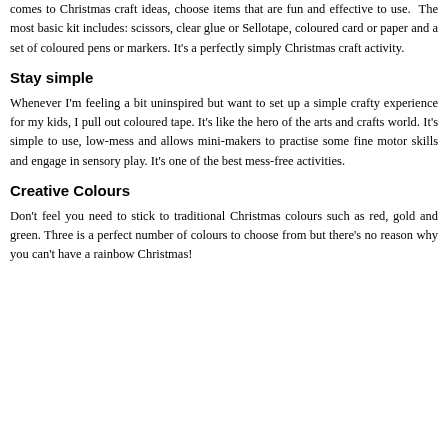comes to Christmas craft ideas, choose items that are fun and effective to use. The most basic kit includes: scissors, clear glue or Sellotape, coloured card or paper and a set of coloured pens or markers. It's a perfectly simply Christmas craft activity.
Stay simple
Whenever I'm feeling a bit uninspired but want to set up a simple crafty experience for my kids, I pull out coloured tape. It's like the hero of the arts and crafts world. It's simple to use, low-mess and allows mini-makers to practise some fine motor skills and engage in sensory play. It's one of the best mess-free activities.
Creative Colours
Don't feel you need to stick to traditional Christmas colours such as red, gold and green. Three is a perfect number of colours to choose from but there's no reason why you can't have a rainbow Christmas!